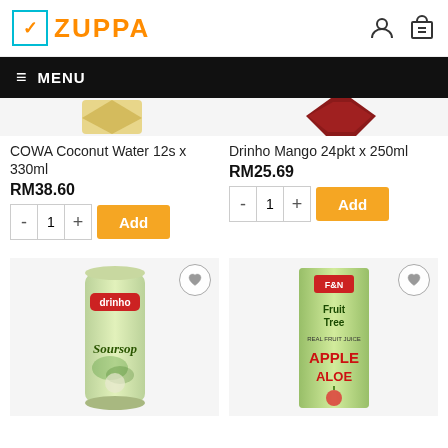ZUPPA
≡ MENU
COWA Coconut Water 12s x 330ml
RM38.60
Drinho Mango 24pkt x 250ml
RM25.69
[Figure (photo): Drinho Soursop canned drink]
[Figure (photo): F&N Fruit Tree Apple Aloe juice pack]